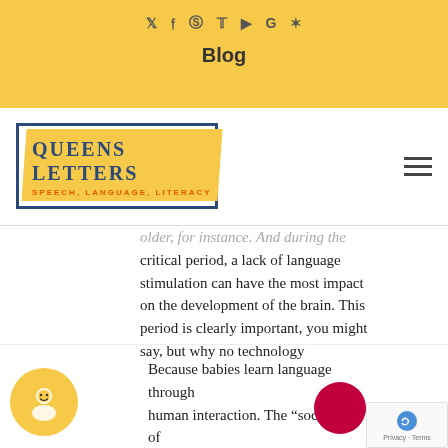Blog
[Figure (logo): Queens Letters Speech, Language, Literacy logo with yellow background and dark blue border]
older, for instance. And during the critical period, a lack of language stimulation can have the most impact on the development of the brain. This period is clearly important, you might say, but why no technology
Because babies learn language through human interaction. The “social part” of our brain must be active for children to learn new sounds and language. When I have this discussion with parents and